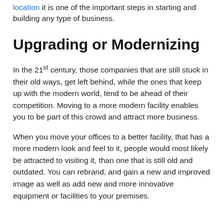location it is one of the important steps in starting and building any type of business.
Upgrading or Modernizing
In the 21st century, those companies that are still stuck in their old ways, get left behind, while the ones that keep up with the modern world, tend to be ahead of their competition. Moving to a more modern facility enables you to be part of this crowd and attract more business.
When you move your offices to a better facility, that has a more modern look and feel to it, people would most likely be attracted to visiting it, than one that is still old and outdated. You can rebrand, and gain a new and improved image as well as add new and more innovative equipment or facilities to your premises.